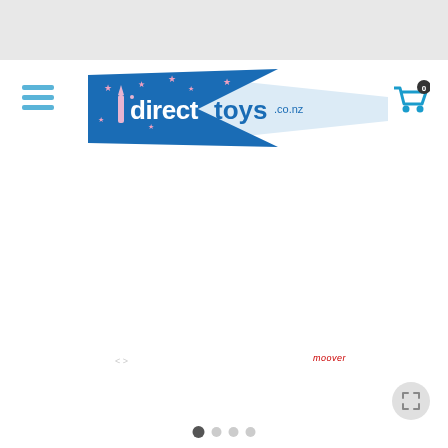[Figure (logo): directtoys.co.nz logo — blue pennant/flag shape with pink stars and white text]
[Figure (other): moover brand label and product image area (mostly white/blank)]
[Figure (other): Fullscreen expand button icon (bottom right)]
[Figure (other): Carousel dot navigation indicators at bottom]